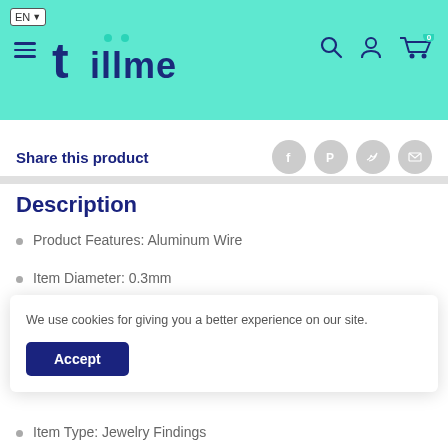[Figure (screenshot): Tillme e-commerce website header with teal/mint background, EN language selector, hamburger menu, Tillme logo in dark blue, and search/account/cart icons on the right]
Share this product
Description
Product Features: Aluminum Wire
Item Diameter: 0.3mm
We use cookies for giving you a better experience on our site.
Accept
Item Type: Jewelry Findings